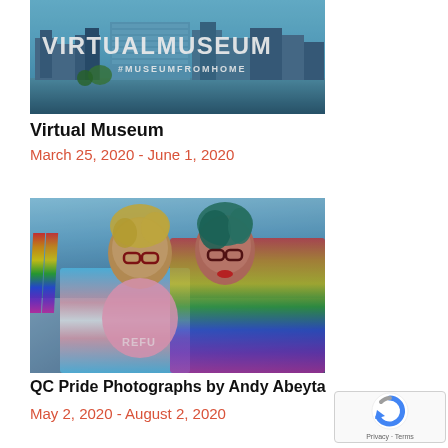[Figure (photo): Photo of a building or museum with 'VIRTUAL MUSEUM' and '#MUSEUMFROMHOME' text overlaid, showing cityscape with water reflection]
Virtual Museum
March 25, 2020 - June 1, 2020
[Figure (photo): Photo of two people wrapped in pride flags (transgender flag and rainbow flag) smiling at a pride event, with colorful rainbow flags visible in the background]
QC Pride Photographs by Andy Abeyta
May 2, 2020 - August 2, 2020